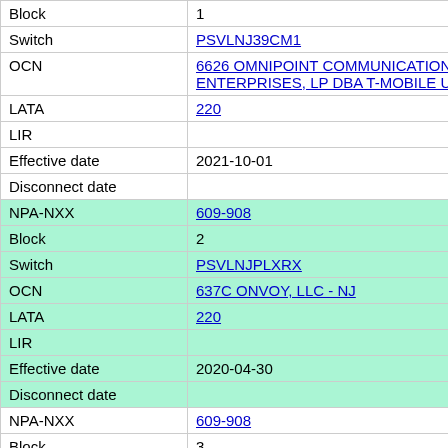| Field | Value |
| --- | --- |
| Block | 1 |
| Switch | PSVLNJ39CM1 |
| OCN | 6626 OMNIPOINT COMMUNICATIONS ENTERPRISES, LP DBA T-MOBILE USA |
| LATA | 220 |
| LIR |  |
| Effective date | 2021-10-01 |
| Disconnect date |  |
| NPA-NXX | 609-908 |
| Block | 2 |
| Switch | PSVLNJPLXRX |
| OCN | 637C ONVOY, LLC - NJ |
| LATA | 220 |
| LIR |  |
| Effective date | 2020-04-30 |
| Disconnect date |  |
| NPA-NXX | 609-908 |
| Block | 3 |
| Switch | PSVLNJPLXRX |
| OCN | 637C ONVOY, LLC - NJ |